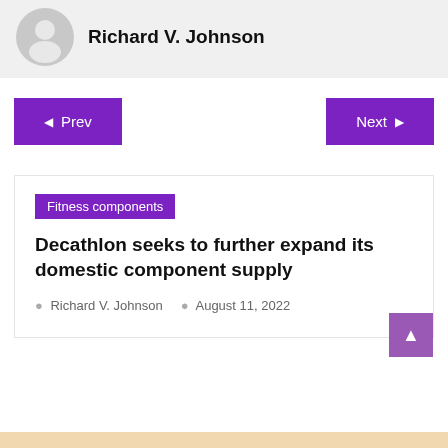Richard V. Johnson
[Figure (illustration): Gray circular avatar/placeholder icon showing a silhouette of a person]
Prev
Next
Fitness components
Decathlon seeks to further expand its domestic component supply
Richard V. Johnson  August 11, 2022